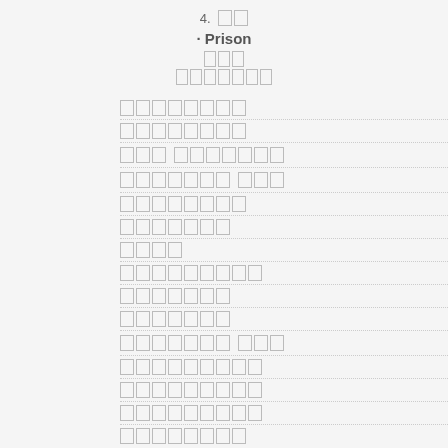4. ██
Prison
███
███████
████████
████████
███ ███████
███████ ███
████████
███████
████
█████████
███████
███████
███████ ███
█████████
█████████
█████████
████████